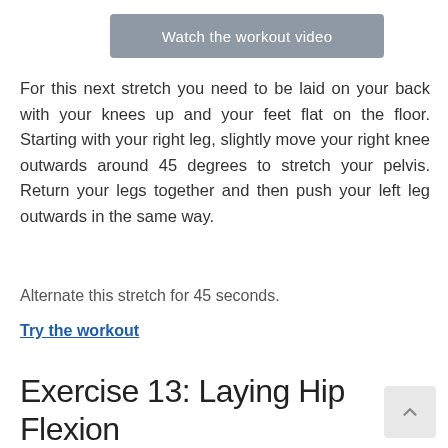[Figure (screenshot): Gray button labeled 'Watch the workout video']
For this next stretch you need to be laid on your back with your knees up and your feet flat on the floor. Starting with your right leg, slightly move your right knee outwards around 45 degrees to stretch your pelvis. Return your legs together and then push your left leg outwards in the same way.
Alternate this stretch for 45 seconds.
Try the workout
Exercise 13: Laying Hip Flexion